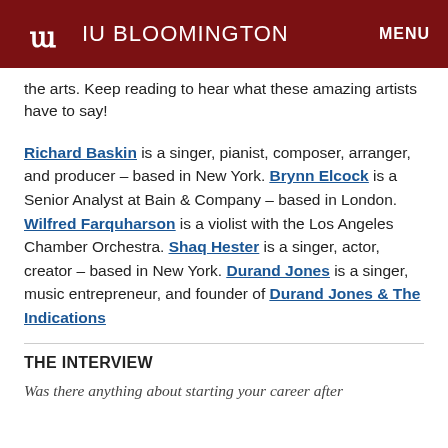IU BLOOMINGTON  MENU
the arts. Keep reading to hear what these amazing artists have to say!
Richard Baskin is a singer, pianist, composer, arranger, and producer – based in New York. Brynn Elcock is a Senior Analyst at Bain & Company – based in London. Wilfred Farquharson is a violist with the Los Angeles Chamber Orchestra. Shaq Hester is a singer, actor, creator – based in New York. Durand Jones is a singer, music entrepreneur, and founder of Durand Jones & The Indications
THE INTERVIEW
Was there anything about starting your career after